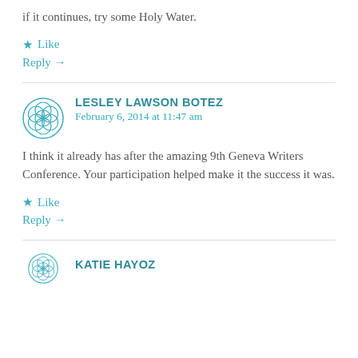if it continues, try some Holy Water.
★ Like
Reply →
LESLEY LAWSON BOTEZ
February 6, 2014 at 11:47 am
I think it already has after the amazing 9th Geneva Writers Conference. Your participation helped make it the success it was.
★ Like
Reply →
KATIE HAYOZ